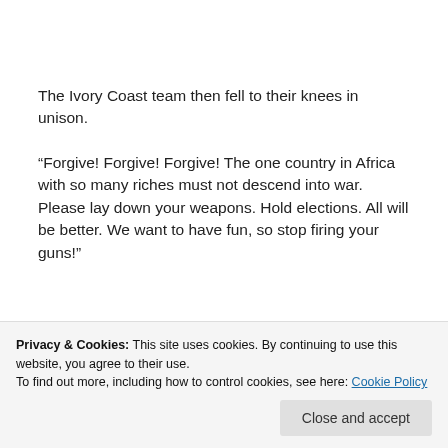The Ivory Coast team then fell to their knees in unison.
“Forgive! Forgive! Forgive! The one country in Africa with so many riches must not descend into war. Please lay down your weapons. Hold elections. All will be better. We want to have fun, so stop firing your guns!”
“It was just something I did
to our country and reaching
Privacy & Cookies: This site uses cookies. By continuing to use this website, you agree to their use.
To find out more, including how to control cookies, see here: Cookie Policy
Close and accept